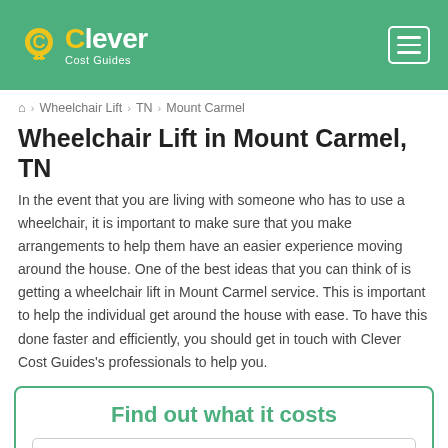Clever Cost Guides
🏠 > Wheelchair Lift > TN > Mount Carmel
Wheelchair Lift in Mount Carmel, TN
In the event that you are living with someone who has to use a wheelchair, it is important to make sure that you make arrangements to help them have an easier experience moving around the house. One of the best ideas that you can think of is getting a wheelchair lift in Mount Carmel service. This is important to help the individual get around the house with ease. To have this done faster and efficiently, you should get in touch with Clever Cost Guides's professionals to help you.
Find out what it costs